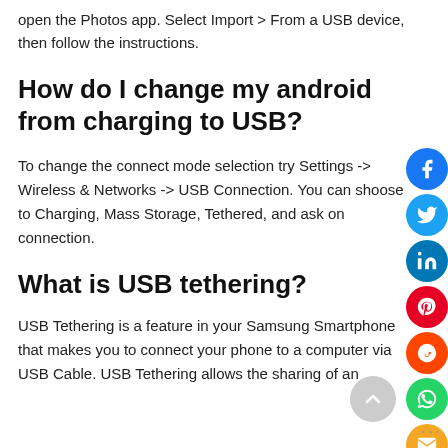open the Photos app. Select Import > From a USB device, then follow the instructions.
How do I change my android from charging to USB?
To change the connect mode selection try Settings -> Wireless & Networks -> USB Connection. You can shoose to Charging, Mass Storage, Tethered, and ask on connection.
What is USB tethering?
USB Tethering is a feature in your Samsung Smartphone that makes you to connect your phone to a computer via USB Cable. USB Tethering allows the sharing of an